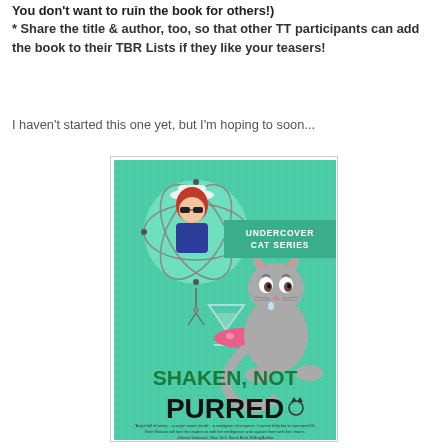You don't want to ruin the book for others!) * Share the title & author, too, so that other TT participants can add the book to their TBR Lists if they like your teasers!
I haven't started this one yet, but I'm hoping to soon...
[Figure (photo): Book cover for 'Shaken, Not Purred' from the Undercover Cat Series, featuring a teal/green background with a cartoon woman in a hat and sunglasses, a grey cat, a martini glass, and a pink fish.]